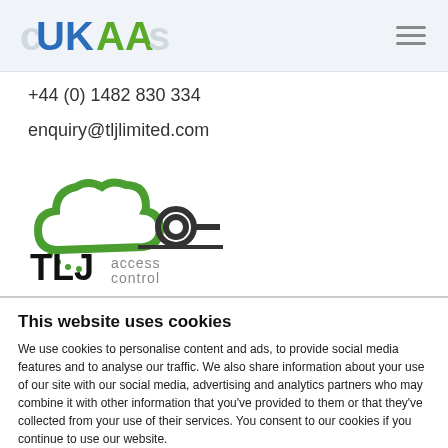UKAA
+44 (0) 1482 830 334
enquiry@tljlimited.com
[Figure (logo): TLJ Access Control logo — green cloud outline with a link/chain icon, bold TLJ text with 'access control' in grey below]
This website uses cookies
We use cookies to personalise content and ads, to provide social media features and to analyse our traffic. We also share information about your use of our site with our social media, advertising and analytics partners who may combine it with other information that you've provided to them or that they've collected from your use of their services. You consent to our cookies if you continue to use our website.
Allow all cookies
Show details